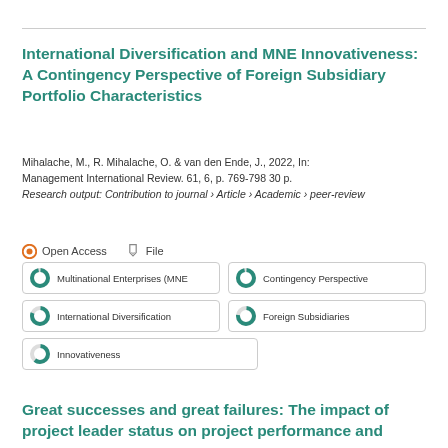International Diversification and MNE Innovativeness: A Contingency Perspective of Foreign Subsidiary Portfolio Characteristics
Mihalache, M., R. Mihalache, O. & van den Ende, J., 2022, In: Management International Review. 61, 6, p. 769-798 30 p.
Research output: Contribution to journal › Article › Academic › peer-review
Open Access   File
Multinational Enterprises (MNE
Contingency Perspective
International Diversification
Foreign Subsidiaries
Innovativeness
Great successes and great failures: The impact of project leader status on project performance and